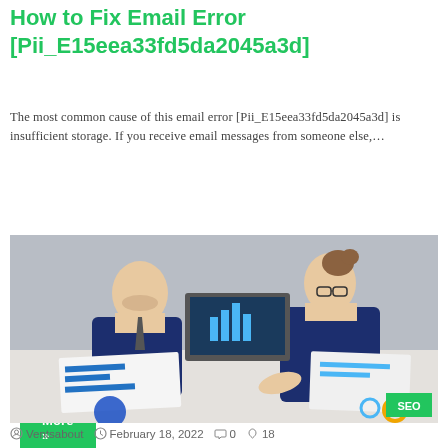How to Fix Email Error [Pii_E15eea33fd5da2045a3d]
The most common cause of this email error [Pii_E15eea33fd5da2045a3d] is insufficient storage. If you receive email messages from someone else,…
Read More »
[Figure (photo): Two business professionals in navy suits reviewing charts and data on a desk with a laptop displaying bar charts, with a green SEO badge overlay in the bottom right corner.]
Ventsabout   February 18, 2022   0   18